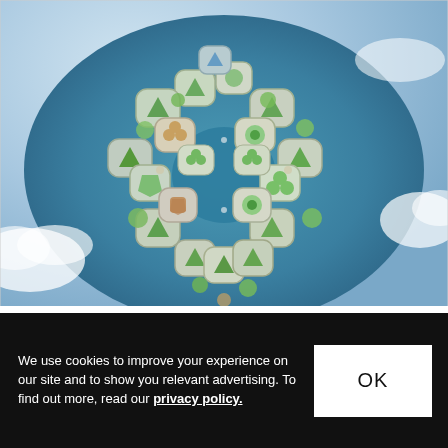[Figure (photo): Aerial view of a futuristic floating city concept — modular hexagonal and triangular platform islands arranged in a circular pattern on a blue-green ocean, viewed from above. Green vegetation visible on platforms, set against cloudy sky.]
We use cookies to improve your experience on our site and to show you relevant advertising. To find out more, read our privacy policy.